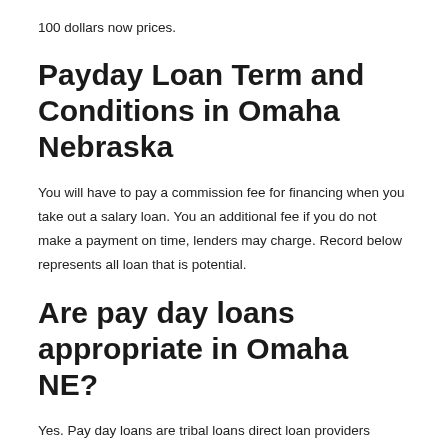100 dollars now prices.
Payday Loan Term and Conditions in Omaha Nebraska
You will have to pay a commission fee for financing when you take out a salary loan. You an additional fee if you do not make a payment on time, lenders may charge. Record below represents all loan that is potential.
Are pay day loans appropriate in Omaha NE?
Yes. Pay day loans are tribal loans direct loan providers payday loans in Ohio appropriate in the state of Nebraska and therefore are governed by the Annotated Laws associated with State of Nebraska B§B§ 45-901, thought as regulations from the Licensing